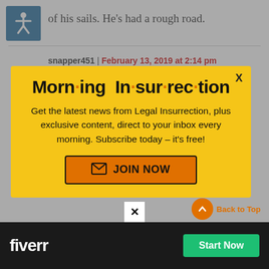of his sails. He's had a rough road.
snapper451 | February 13, 2019 at 2:14 pm
[Figure (infographic): Morning Insurrection modal popup with yellow background. Title reads 'Morn·ing In·sur·rec·tion' with orange dots. Body text: 'Get the latest news from Legal Insurrection, plus exclusive content, direct to your inbox every morning. Subscribe today – it's free!' Orange JOIN NOW button with envelope icon.]
[Figure (infographic): Bottom advertisement bar for Fiverr with dark background, Fiverr logo in white, green Start Now button.]